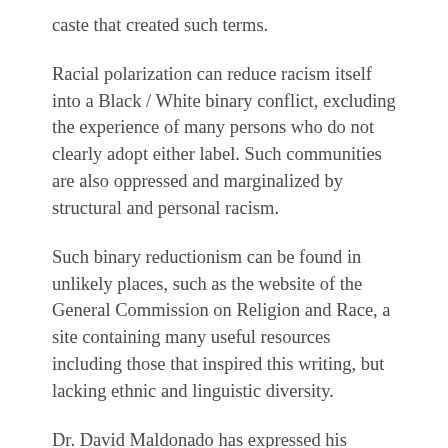caste that created such terms.
Racial polarization can reduce racism itself into a Black / White binary conflict, excluding the experience of many persons who do not clearly adopt either label. Such communities are also oppressed and marginalized by structural and personal racism.
Such binary reductionism can be found in unlikely places, such as the website of the General Commission on Religion and Race, a site containing many useful resources including those that inspired this writing, but lacking ethnic and linguistic diversity.
Dr. David Maldonado has expressed his concern